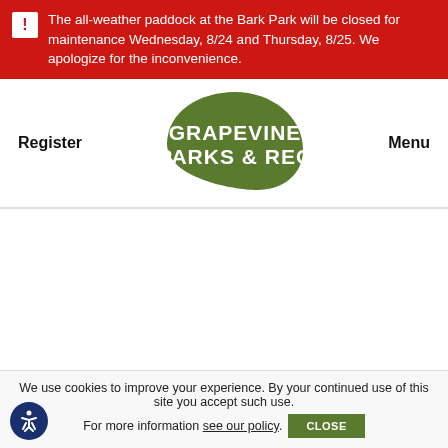The all-weather paddock at the Bark Park will be closed for maintenance Wednesday, 8/24 and Thursday, 8/25. We apologize for the inconvenience.
[Figure (logo): Grapevine Parks & Rec logo — green leaf shape with white bold text GRAPEVINE PARKS & REC]
Register
Menu
We use cookies to improve your experience. By your continued use of this site you accept such use. For more information see our policy.